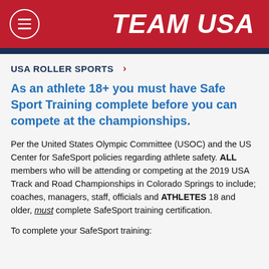TEAM USA
USA ROLLER SPORTS
As an athlete 18+ you must have Safe Sport Training complete before you can compete at the championships.
Per the United States Olympic Committee (USOC) and the US Center for SafeSport policies regarding athlete safety. ALL members who will be attending or competing at the 2019 USA Track and Road Championships in Colorado Springs to include; coaches, managers, staff, officials and ATHLETES 18 and older, must complete SafeSport training certification.
To complete your SafeSport training: